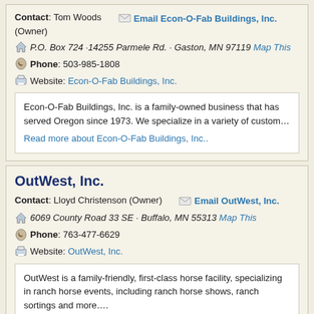Contact: Tom Woods (Owner)   Email Econ-O-Fab Buildings, Inc.
P.O. Box 724 ·14255 Parmele Rd. · Gaston, MN 97119  Map This
Phone: 503-985-1808
Website: Econ-O-Fab Buildings, Inc.
Econ-O-Fab Buildings, Inc. is a family-owned business that has served Oregon since 1973. We specialize in a variety of custom…
Read more about Econ-O-Fab Buildings, Inc..
OutWest, Inc.
Contact: Lloyd Christenson (Owner)   Email OutWest, Inc.
6069 County Road 33 SE · Buffalo, MN 55313  Map This
Phone: 763-477-6629
Website: OutWest, Inc.
OutWest is a family-friendly, first-class horse facility, specializing in ranch horse events, including ranch horse shows, ranch sortings and more….
Read more about OutWest, Inc.